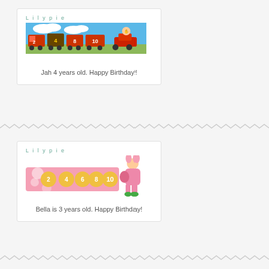[Figure (illustration): Lilypie birthday ticker widget showing a cartoon train scene with numbers 2,4,8,10 and a child in a red car. Caption: Jah 4 years old. Happy Birthday!]
[Figure (illustration): Lilypie birthday ticker widget showing a pink candy-themed banner with numbers 2,4,6,8,10 and a cartoon girl in pink bunny costume. Caption: Bella is 3 years old. Happy Birthday!]
RECENT POSTS
My Little Climbing Room (Exclusive Media Preview and Giveaway) October 13, 2017
US California Trip (May 2017) – SFO to Monterey -Day 5 (Swanton Berry Farm, 99bottles and Monterey Plaza Hotel &